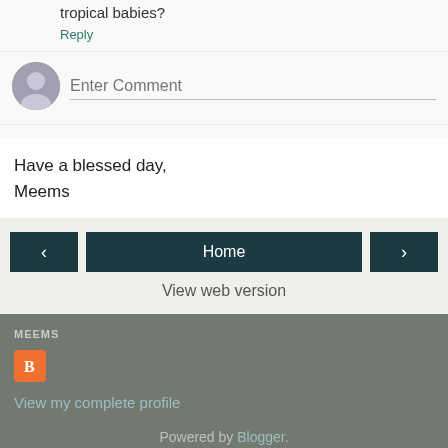tropical babies?
Reply
[Figure (other): User avatar placeholder circle with comment input field showing 'Enter Comment' placeholder text]
Have a blessed day,
Meems
[Figure (other): Navigation buttons: left arrow, Home, right arrow, and View web version link]
MEEMS
[Figure (logo): Blogger orange icon/logo button]
View my complete profile
Powered by Blogger.